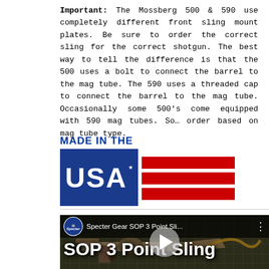Important: The Mossberg 500 & 590 use completely different front sling mount plates. Be sure to order the correct sling for the correct shotgun. The best way to tell the difference is that the 500 uses a bolt to connect the barrel to the mag tube. The 590 uses a threaded cap to connect the barrel to the mag tube. Occasionally some 500's come equipped with 590 mag tubes. So... order based on mag tube type.
[Figure (logo): Made in the USA logo with blue box containing 'USA' text with star, and three red horizontal stripes to the right]
[Figure (screenshot): YouTube video thumbnail showing 'Specter Gear SOP 3 Point Sli...' with channel icon, video title 'SOP 3 Point Sling', play button, and image of weapon/sling on grid mat background]